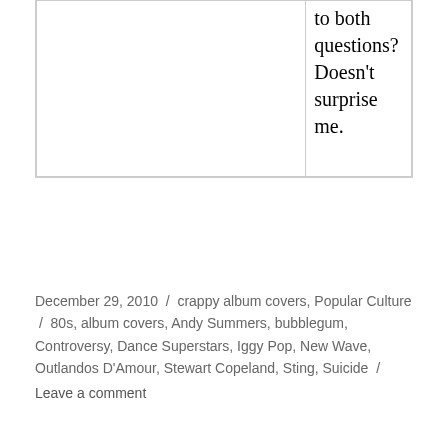|  | to both questions? Doesn't surprise me. |
December 29, 2010 / crappy album covers, Popular Culture / 80s, album covers, Andy Summers, bubblegum, Controversy, Dance Superstars, Iggy Pop, New Wave, Outlandos D'Amour, Stewart Copeland, Sting, Suicide / Leave a comment